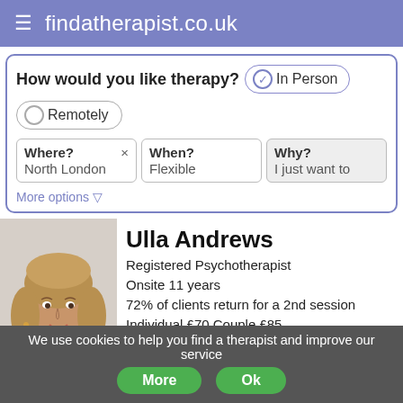findatherapist.co.uk
How would you like therapy?
✓ In Person
○ Remotely
Where? × North London
When? Flexible
Why? I just want to
More options ▽
Ulla Andrews
Registered Psychotherapist
Onsite 11 years
72% of clients return for a 2nd session
Individual £70  Couple £85
[Figure (photo): Profile photo of Ulla Andrews, a woman with shoulder-length blonde-brown hair, smiling, wearing a dark red top]
We use cookies to help you find a therapist and improve our service
More
Ok